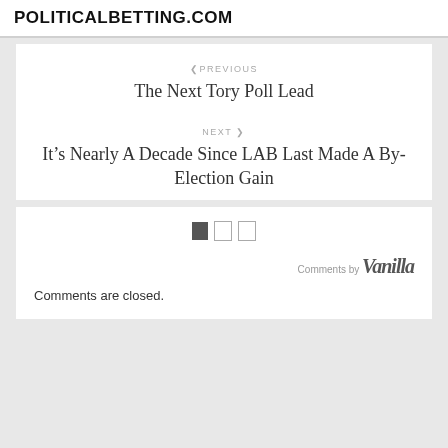POLITICALBETTING.COM
< PREVIOUS
The Next Tory Poll Lead
NEXT >
It's Nearly A Decade Since LAB Last Made A By-Election Gain
Comments are closed.